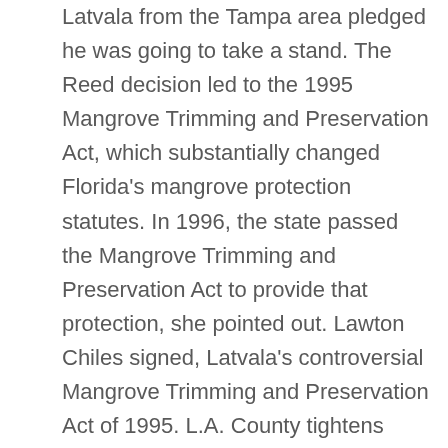Latvala from the Tampa area pledged he was going to take a stand. The Reed decision led to the 1995 Mangrove Trimming and Preservation Act, which substantially changed Florida's mangrove protection statutes. In 1996, the state passed the Mangrove Trimming and Preservation Act to provide that protection, she pointed out. Lawton Chiles signed, Latvala's controversial Mangrove Trimming and Preservation Act of 1995. L.A. County tightens COVID-19 restrictions today: What you need to know. The MTPA governs how mangroves are managed in the state, unless you live in one of the delegated local governments. If peculiar or unusual circumstances exist related to the property, homeowners may wish to hire an environmental attorney to assist in obtaining the permit. Before trimming, the mangroves must not exceed 10 feet in